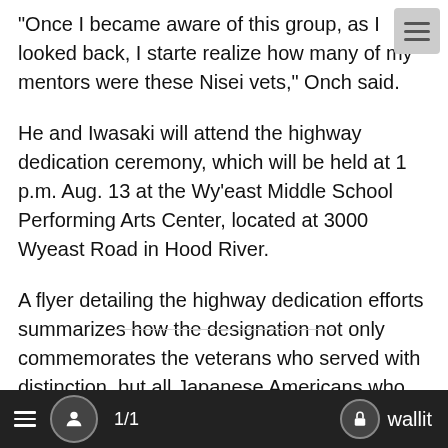"Once I became aware of this group, as I looked back, I starte realize how many of my mentors were these Nisei vets," Onch said.
He and Iwasaki will attend the highway dedication ceremony, which will be held at 1 p.m. Aug. 13 at the Wy'east Middle School Performing Arts Center, located at 3000 Wyeast Road in Hood River.
A flyer detailing the highway dedication efforts summarizes how the designation not only commemorates the veterans who served with distinction, but all Japanese Americans who struggled to reclaim their homes.
"They served with fierce determination fueled by their desire to prove their families' rightful place in the country of their birth, the United States of America," the flyer reads.
≡  👤  1/1    🔒 wallit